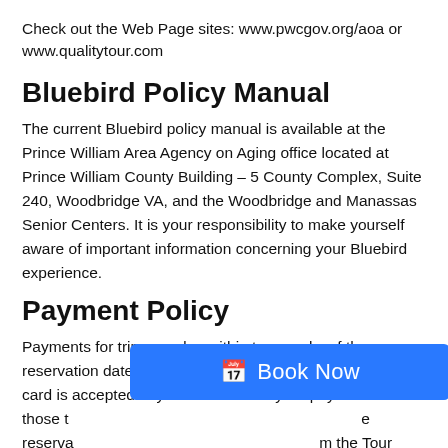Check out the Web Page sites: www.pwcgov.org/aoa or www.qualitytour.com
Bluebird Policy Manual
The current Bluebird policy manual is available at the Prince William Area Agency on Aging office located at Prince William County Building – 5 County Complex, Suite 240, Woodbridge VA, and the Woodbridge and Manassas Senior Centers. It is your responsibility to make yourself aware of important information concerning your Bluebird experience.
Payment Policy
Payments for trips are due within two weeks of the reservation date; check, exact cash, money order or credit card is accepted. If you do not make your payment within those t... the reservation... from the Tour Coordinator if your name is dropped from the